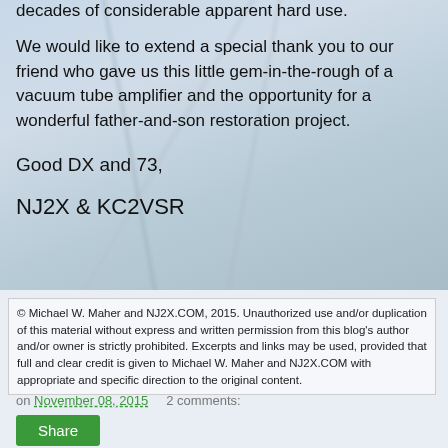decades of considerable apparent hard use.
We would like to extend a special thank you to our friend who gave us this little gem-in-the-rough of a vacuum tube amplifier and the opportunity for a wonderful father-and-son restoration project.
Good DX and 73,
NJ2X & KC2VSR
© Michael W. Maher and NJ2X.COM, 2015. Unauthorized use and/or duplication of this material without express and written permission from this blog's author and/or owner is strictly prohibited. Excerpts and links may be used, provided that full and clear credit is given to Michael W. Maher and NJ2X.COM with appropriate and specific direction to the original content.
on November 08, 2015    2 comments:
Share